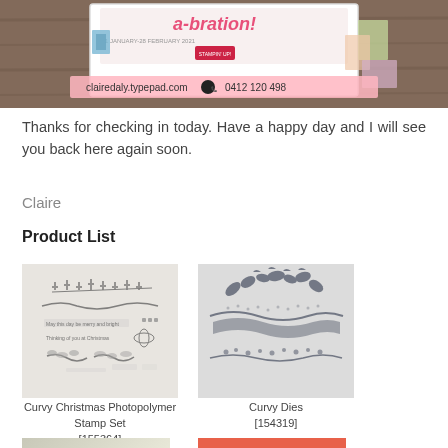[Figure (photo): Top banner image showing Stampin' Up sale-a-bration promotional material on a wooden table with crafting products. Pink overlay bar shows 'clairedaly.typepad.com' and '0412 120 498'.]
Thanks for checking in today. Have a happy day and I will see you back here again soon.
Claire
Product List
[Figure (photo): Curvy Christmas Photopolymer Stamp Set product image showing various stamp designs with Christmas foliage and text stamps on beige background. Product code [155364].]
Curvy Christmas Photopolymer Stamp Set
[155364]
[Figure (photo): Curvy Dies product image showing die cut shapes of leaves, berries and wavy bands on grey background. Product code [154319].]
Curvy Dies
[154319]
[Figure (photo): Bottom left product image - silver/cream colored product partially visible.]
[Figure (photo): Bottom right product image - coral/orange colored product partially visible.]